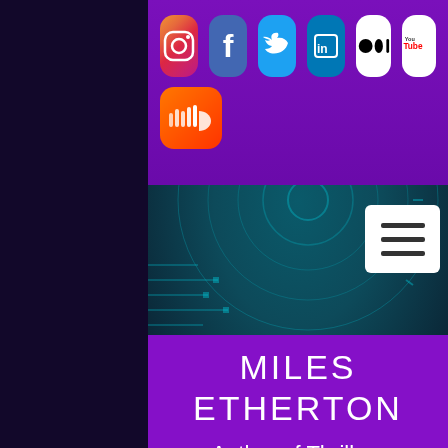[Figure (screenshot): Website screenshot showing social media icons (Instagram, Facebook, Twitter, LinkedIn, Medium, YouTube, SoundCloud) on a purple bar, a teal tech/circuit-board background with a hamburger menu button, a purple section with the name MILES ETHERTON and taglines Author of Thrillers, Article Writer, Activist for Democracy, and a partial photo at the bottom.]
MILES ETHERTON
Author of Thrillers
Article Writer
Activist for Democracy